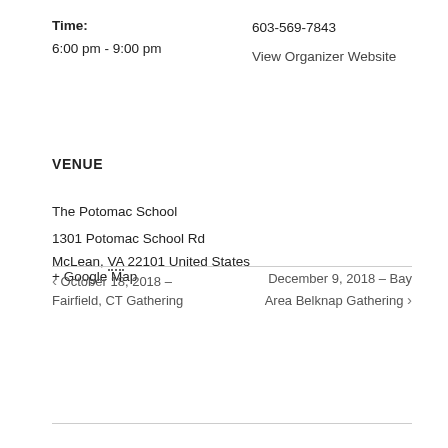Time:
6:00 pm - 9:00 pm
603-569-7843
View Organizer Website
VENUE
The Potomac School
1301 Potomac School Rd
McLean, VA 22101 United States + Google Map
‹ October 18, 2018 – Fairfield, CT Gathering
December 9, 2018 – Bay Area Belknap Gathering ›